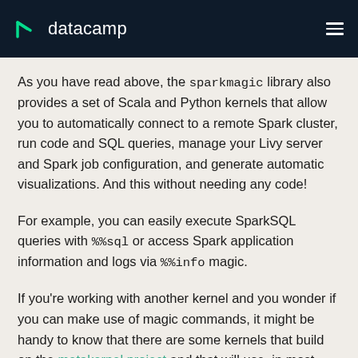datacamp
As you have read above, the sparkmagic library also provides a set of Scala and Python kernels that allow you to automatically connect to a remote Spark cluster, run code and SQL queries, manage your Livy server and Spark job configuration, and generate automatic visualizations. And this without needing any code!
For example, you can easily execute SparkSQL queries with %%sql or access Spark application information and logs via %%info magic.
If you're working with another kernel and you wonder if you can make use of magic commands, it might be handy to know that there are some kernels that build on the metakernel project and that will use, in most